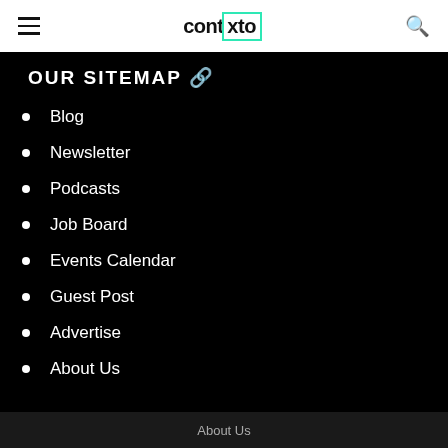contxto
OUR SITEMAP
Blog
Newsletter
Podcasts
Job Board
Events Calendar
Guest Post
Advertise
About Us
About Us